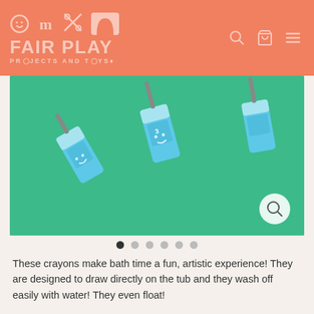[Figure (logo): Fair Play Projects and Toys logo with playful pink text and icons on coral/salmon background, with navigation icons (search, cart, menu)]
[Figure (photo): Blue crayon tubes shaped like small toothpaste/shark tubes lying on a bright green background, photographed from above. A magnify/zoom button appears in the bottom right corner.]
[Figure (infographic): Image carousel dot indicators: 6 dots, first dot is dark/active, remaining 5 are light gray.]
These crayons make bath time a fun, artistic experience! They are designed to draw directly on the tub and they wash off easily with water!  They even float!
Size
set of 3- coral